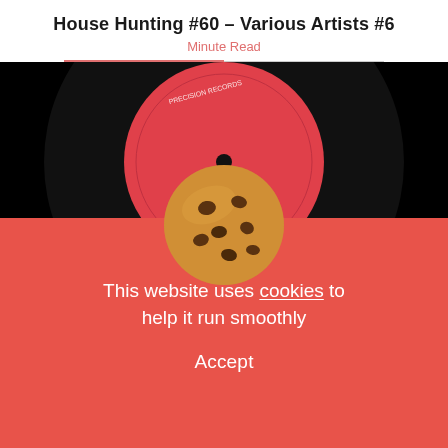House Hunting #60 – Various Artists #6
Minute Read
[Figure (photo): Close-up of a red vinyl record label on a black vinyl record, with text around the label reading 'Precision Records' and an address.]
And I took from there, making my journey backwards going from House to Disco and from there forward to bo... italo disco, then back to Motown a... gain to electro,
[Figure (illustration): A chocolate chip cookie icon used for the cookie consent popup.]
This website uses cookies to help it run smoothly
Accept